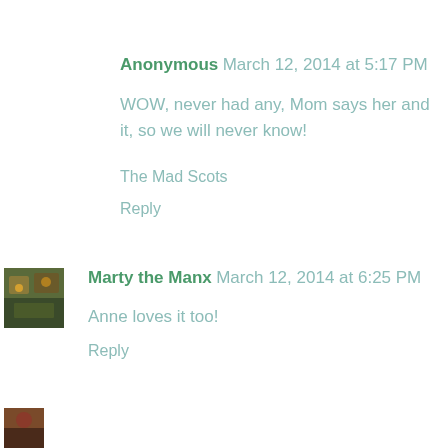Anonymous March 12, 2014 at 5:17 PM
WOW, never had any, Mom says her and it, so we will never know!
The Mad Scots
Reply
[Figure (photo): Avatar image for Marty the Manx commenter]
Marty the Manx March 12, 2014 at 6:25 PM
Anne loves it too!
Reply